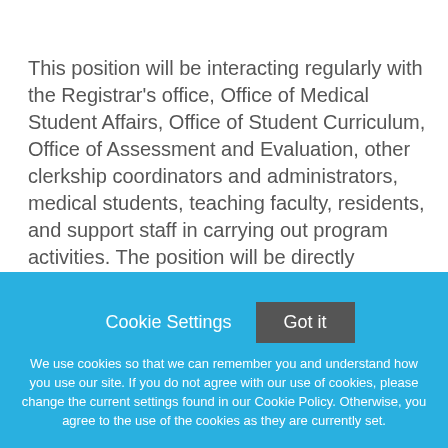This position will be interacting regularly with the Registrar's office, Office of Medical Student Affairs, Office of Student Curriculum, Office of Assessment and Evaluation, other clerkship coordinators and administrators, medical students, teaching faculty, residents, and support staff in carrying out program activities. The position will be directly supervised by the Clerkship Director of Emergency Medicine, and reports to the Medical Training Program Manager and
[Figure (screenshot): Cookie consent overlay banner in blue (#29b0e0) with 'Cookie Settings' button and dark grey 'Got it' button, plus cookie policy notice text in white.]